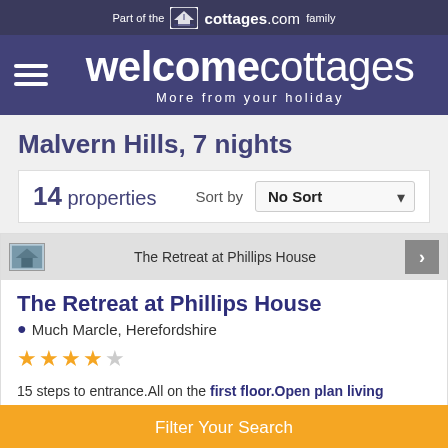Part of the cottages.com family
[Figure (logo): Welcome Cottages logo with hamburger menu icon. Text: welcomecottages. More from your holiday]
Malvern Hills, 7 nights
14 properties   Sort by   No Sort
The Retreat at Phillips House
The Retreat at Phillips House
Much Marcle, Herefordshire
★★★★☆
15 steps to entrance.All on the first floor.Open plan living space....
Sleeps: 2   Bedrooms: 1   Pets: 0
Filter Your Search